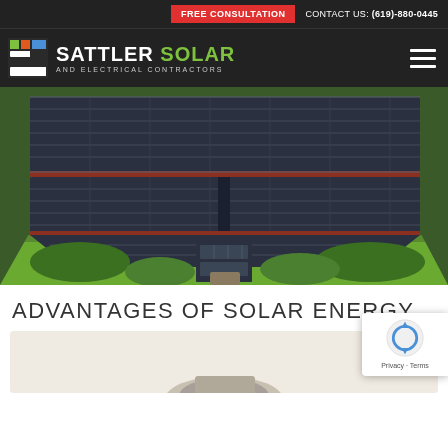FREE CONSULTATION   CONTACT US: (619)-880-0445
[Figure (logo): Sattler Solar and Electrical Contractors logo with colored grid icon]
[Figure (photo): Aerial view of large solar panel array on rooftops surrounded by green grass]
ADVANTAGES OF SOLAR ENERGY
[Figure (photo): Partial bottom image, appears to show a solar or energy-related product on light background]